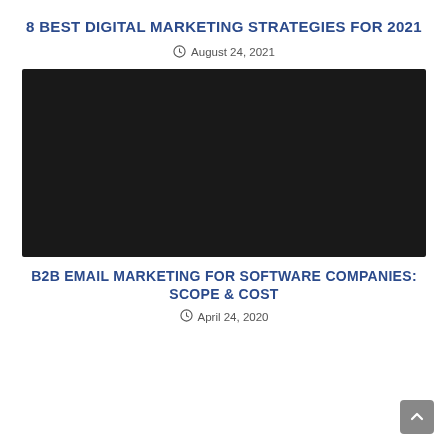8 BEST DIGITAL MARKETING STRATEGIES FOR 2021
August 24, 2021
[Figure (photo): Large dark/black hero image for the article about 8 best digital marketing strategies for 2021]
B2B EMAIL MARKETING FOR SOFTWARE COMPANIES: SCOPE & COST
April 24, 2020